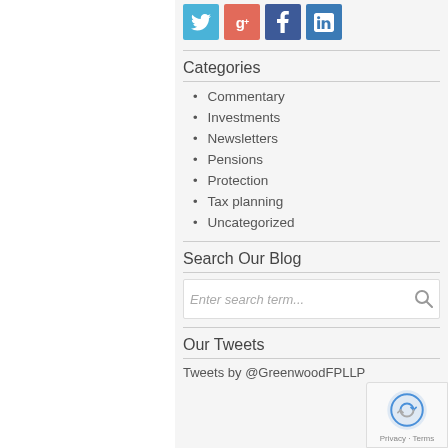[Figure (infographic): Social media icons row: Twitter (blue bird), Google+ (orange), Facebook (blue), LinkedIn (blue)]
Categories
Commentary
Investments
Newsletters
Pensions
Protection
Tax planning
Uncategorized
Search Our Blog
Enter search term...
Our Tweets
Tweets by @GreenwoodFPLLP